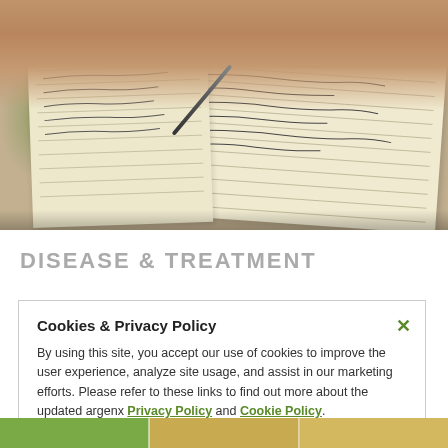[Figure (photo): Close-up photo of hands writing in an open notebook with a pen, with handwritten notes visible on the pages]
DISEASE & TREATMENT
Cookies & Privacy Policy

By using this site, you accept our use of cookies to improve the user experience, analyze site usage, and assist in our marketing efforts. Please refer to these links to find out more about the updated argenx Privacy Policy and Cookie Policy.
[Figure (photo): Bottom strip showing partial images of nature/food]